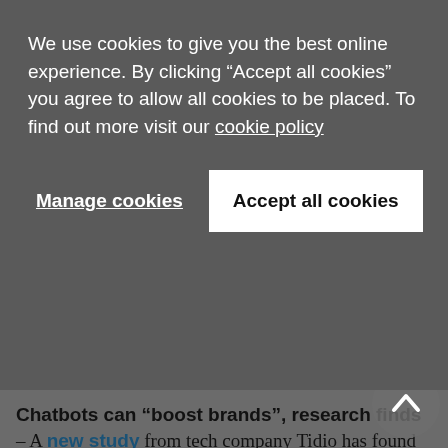We use cookies to give you the best online experience. By clicking "Accept all cookies" you agree to allow all cookies to be placed. To find out more visit our cookie policy
Manage cookies
Accept all cookies
marketradar
Chatbots can “boost brands”, research finds – A new study from tech company Tidio has found that consumers can become more attached to a brand if it has an effective chatbot. The study delved into how consumers interact with chatbots – a tool used by countless brands (big and small) on their websites – and found that 22% of respondents were “put off by too robotic chatbots”, while 16% did not like bots